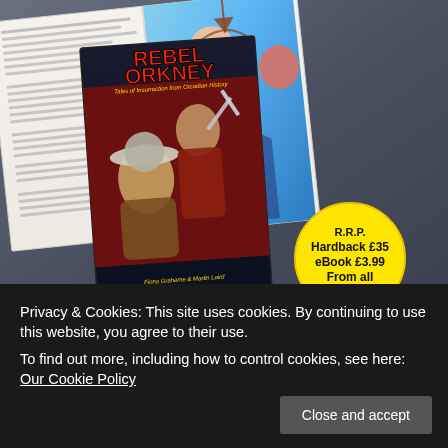[Figure (photo): Photo of an open book alongside the 'Rebel Orkney: Tales of Insurrection from Orcadian History' book cover by Fiona Grahame & Martin Laird, with a yellow circular price sticker showing R.R.P. Hardback £35, eBook £3.99, From all ...]
Privacy & Cookies: This site uses cookies. By continuing to use this website, you agree to their use.
To find out more, including how to control cookies, see here: Our Cookie Policy